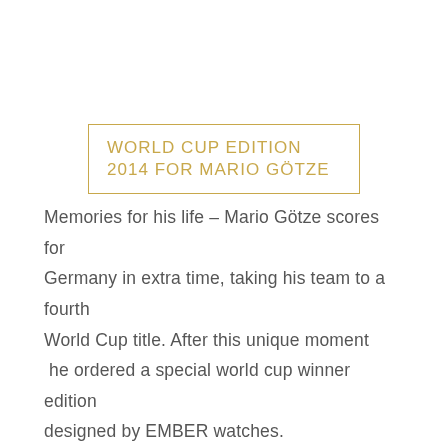WORLD CUP EDITION 2014 FOR MARIO GÖTZE
Memories for his life – Mario Götze scores for Germany in extra time, taking his team to a fourth World Cup title. After this unique moment he ordered a special world cup winner edition designed by EMBER watches.